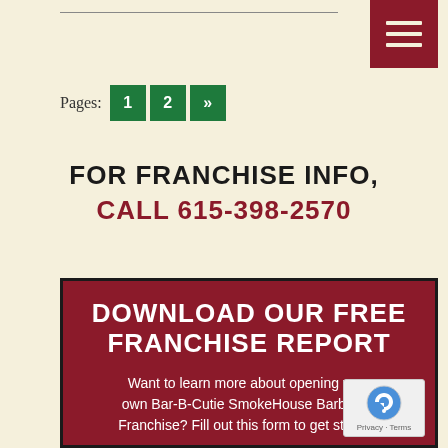Pages: 1 2 »
FOR FRANCHISE INFO, CALL 615-398-2570
DOWNLOAD OUR FREE FRANCHISE REPORT
Want to learn more about opening your own Bar-B-Cutie SmokeHouse Barbecue Franchise? Fill out this form to get started: